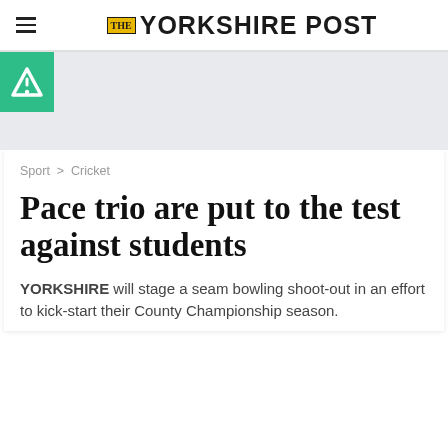THE YORKSHIRE POST
[Figure (logo): Green square with white letter A logo (advertisement/app icon)]
Sport > Cricket
Pace trio are put to the test against students
YORKSHIRE will stage a seam bowling shoot-out in an effort to kick-start their County Championship season.